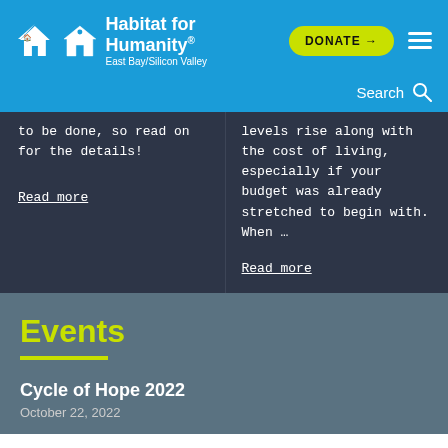Habitat for Humanity East Bay/Silicon Valley — DONATE → [hamburger menu]
Search 🔍
to be done, so read on for the details!
Read more
levels rise along with the cost of living, especially if your budget was already stretched to begin with. When …
Read more
Events
Cycle of Hope 2022
October 22, 2022